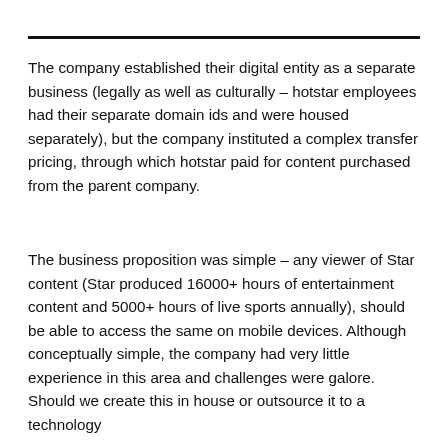The company established their digital entity as a separate business (legally as well as culturally – hotstar employees had their separate domain ids and were housed separately), but the company instituted a complex transfer pricing, through which hotstar paid for content purchased from the parent company.
The business proposition was simple – any viewer of Star content (Star produced 16000+ hours of entertainment content and 5000+ hours of live sports annually), should be able to access the same on mobile devices. Although conceptually simple, the company had very little experience in this area and challenges were galore. Should we create this in house or outsource it to a technology